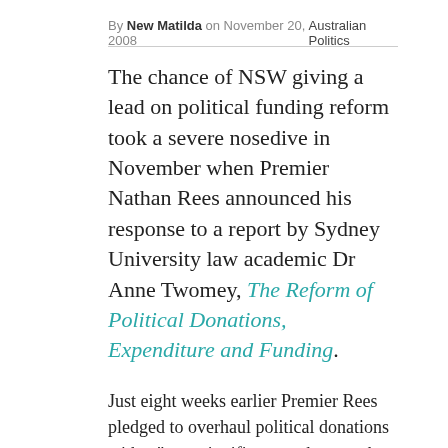By New Matilda on November 20, 2008    Australian Politics
The chance of NSW giving a lead on political funding reform took a severe nosedive in November when Premier Nathan Rees announced his response to a report by Sydney University law academic Dr Anne Twomey, The Reform of Political Donations, Expenditure and Funding.
Just eight weeks earlier Premier Rees pledged to overhaul political donations with a "very significant package ... that cleans this up once and for all". But the Premier responded to Twomey's report by declaring that it was all too hard and